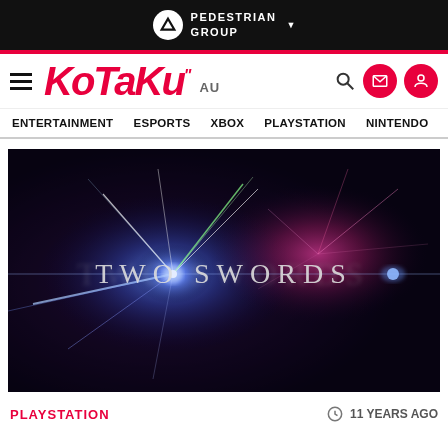PEDESTRIAN GROUP
[Figure (screenshot): Kotaku AU website header with hamburger menu, Kotaku logo in red italic font, AU text, and navigation icons (search, email, user)]
ENTERTAINMENT  ESPORTS  XBOX  PLAYSTATION  NINTENDO
[Figure (photo): Dark cinematic image with blue and pink/magenta lens flare light effects and crossed swords glow, text reads TWO SWORDS in large serif font]
PLAYSTATION
11 YEARS AGO